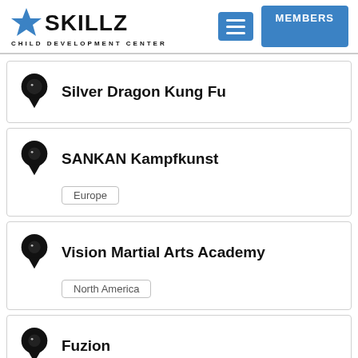SKILLZ CHILD DEVELOPMENT CENTER — MEMBERS
Silver Dragon Kung Fu
SANKAN Kampfkunst
Vision Martial Arts Academy
Fuzion